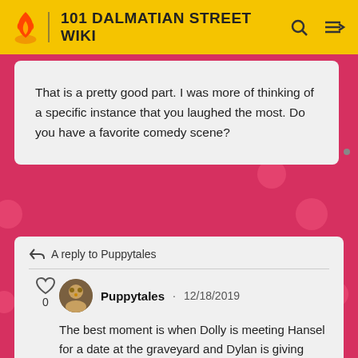101 DALMATIAN STREET WIKI
That is a pretty good part. I was more of thinking of a specific instance that you laughed the most. Do you have a favorite comedy scene?
A reply to Puppytales
Puppytales · 12/18/2019
The best moment is when Dolly is meeting Hansel for a date at the graveyard and Dylan is giving Dolly the poems to say. The best part is when Deisel bites Dylan and he screams, and...well, you